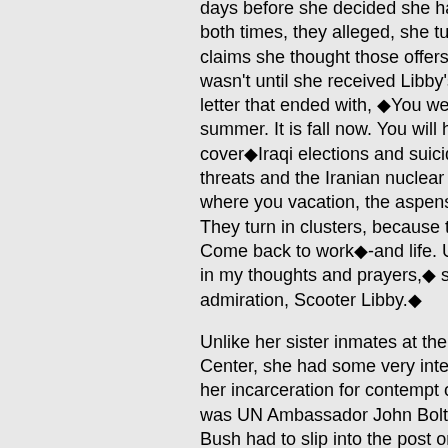days before she decided she had enough of jail, and both times, they alleged, she turned it down. Miller claims she thought those offers were coerced and it wasn't until she received Libby's bizarre "Dear Judy" letter that ended with, ◆You went into jail in the summer. It is fall now. You will have stories to cover◆Iraqi elections and suicide bombers, biological threats and the Iranian nuclear program. Out West, where you vacation, the aspens will already be turning. They turn in clusters, because their roots connect them. Come back to work◆-and life. Until then, you will remain in my thoughts and prayers,◆ signed, ◆With admiration, Scooter Libby.◆
Unlike her sister inmates at the Alexandria Detention Center, she had some very interesting visitors during her incarceration for contempt of court. Among them was UN Ambassador John Bolton, the volatile neocon Bush had to slip into the post on a recess appointment, so Bolton can carry out his dream of wrecking that institution. Now why would Bolton go visit Miller? The mystery